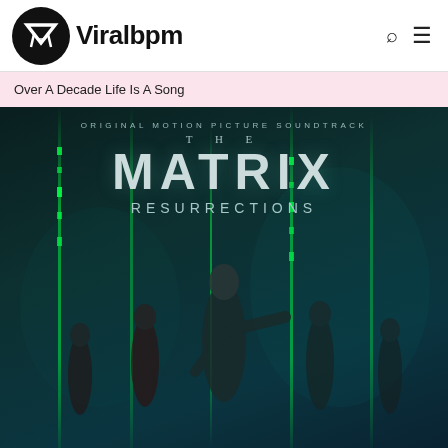Viralbpm
Over A Decade Life Is A Song
[Figure (photo): The Matrix Resurrections Original Motion Picture Soundtrack album cover showing characters standing against a green matrix code background with the title text 'ORIGINAL MOTION PICTURE SOUNDTRACK THE MATRIX RESURRECTIONS']